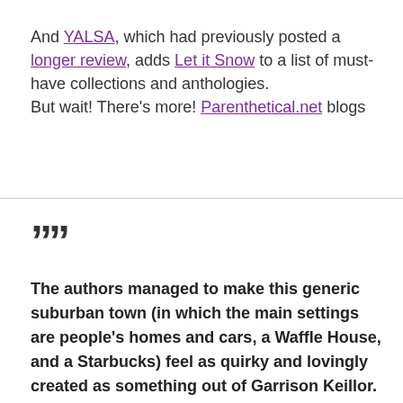And YALSA, which had previously posted a longer review, adds Let it Snow to a list of must-have collections and anthologies.
But wait! There's more! Parenthetical.net blogs
””
The authors managed to make this generic suburban town (in which the main settings are people’s homes and cars, a Waffle House, and a Starbucks) feel as quirky and lovingly created as something out of Garrison Keillor.